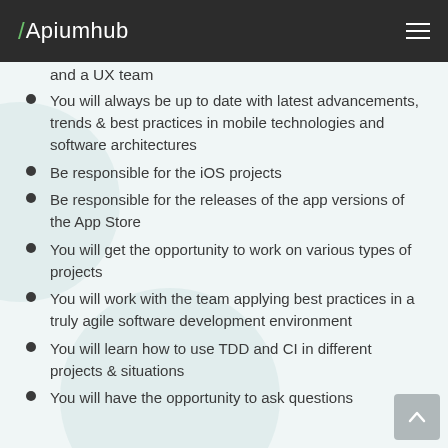Apiumhub
and a UX team
You will always be up to date with latest advancements, trends & best practices in mobile technologies and software architectures
Be responsible for the iOS projects
Be responsible for the releases of the app versions of the App Store
You will get the opportunity to work on various types of projects
You will work with the team applying best practices in a truly agile software development environment
You will learn how to use TDD and CI in different projects & situations
You will have the opportunity to ask questions